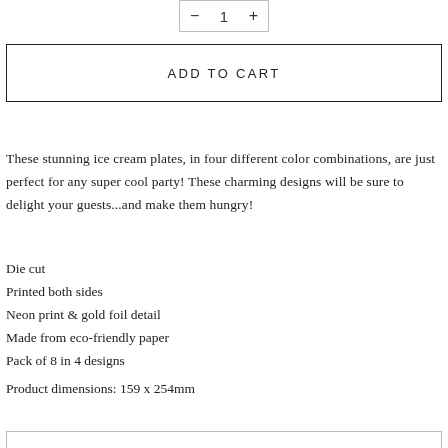[Figure (other): Quantity selector showing minus button, number 1, and plus button in a bordered box]
ADD TO CART
These stunning ice cream plates, in four different color combinations, are just perfect for any super cool party! These charming designs will be sure to delight your guests...and make them hungry!
Die cut
Printed both sides
Neon print & gold foil detail
Made from eco-friendly paper
Pack of 8 in 4 designs
Product dimensions: 159 x 254mm